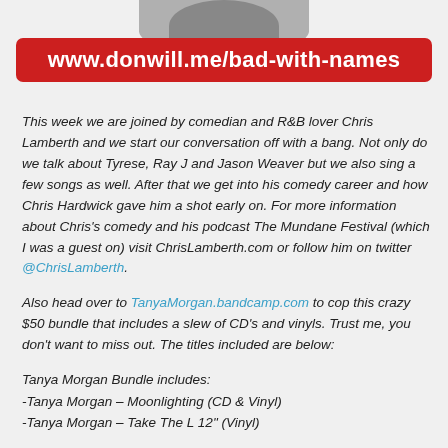[Figure (photo): Partial photo of a person at the top of the page, cropped]
www.donwill.me/bad-with-names
This week we are joined by comedian and R&B lover Chris Lamberth and we start our conversation off with a bang. Not only do we talk about Tyrese, Ray J and Jason Weaver but we also sing a few songs as well. After that we get into his comedy career and how Chris Hardwick gave him a shot early on. For more information about Chris's comedy and his podcast The Mundane Festival (which I was a guest on) visit ChrisLamberth.com or follow him on twitter @ChrisLamberth.
Also head over to TanyaMorgan.bandcamp.com to cop this crazy $50 bundle that includes a slew of CD's and vinyls. Trust me, you don't want to miss out. The titles included are below:
Tanya Morgan Bundle includes:
-Tanya Morgan – Moonlighting (CD & Vinyl)
-Tanya Morgan – Take The L 12" (Vinyl)